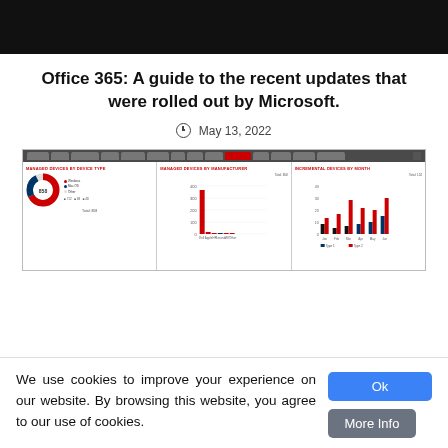[Figure (screenshot): Black banner image at top of webpage]
Office 365: A guide to the recent updates that were rolled out by Microsoft.
May 13, 2022
[Figure (screenshot): Screenshot of Microsoft Office 365 admin dashboard showing managed devices by device type (donut chart with 858 total), managed devices by manufacturer (bar chart), and incremental devices by month (grouped bar chart)]
We use cookies to improve your experience on our website. By browsing this website, you agree to our use of cookies.